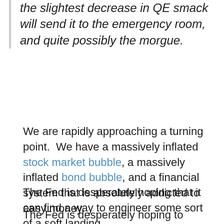the slightest decrease in QE smack will send it to the emergency room, and quite possibly the morgue.
We are rapidly approaching a turning point.  We have a massively inflated stock market bubble, a massively inflated bond bubble, and a financial system that is absolutely addicted to easy money.
The Fed is desperately hoping that it can find a way to engineer some sort of a soft landing.
The Fed is desperately hoping to avoid a repeat of the financial crisis of 2008.